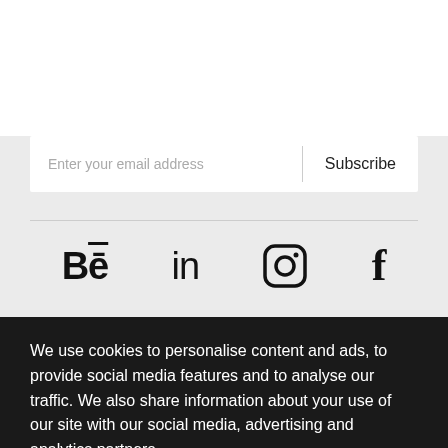Enter your email address
Subscribe
[Figure (illustration): Social media icons row: Behance, LinkedIn, Instagram, Facebook]
We use cookies to personalise content and ads, to provide social media features and to analyse our traffic. We also share information about your use of our site with our social media, advertising and analytics partners.
Cookie Settings
✓ Accept Cookies